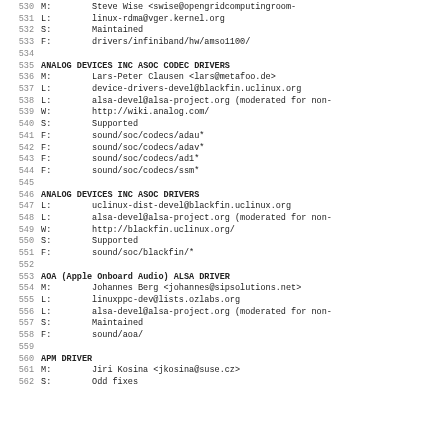530 M:        Steve Wise <swise@opengridcomputingroom-
531 L:        linux-rdma@vger.kernel.org
532 S:        Maintained
533 F:        drivers/infiniband/hw/amso1100/
534
535 ANALOG DEVICES INC ASOC CODEC DRIVERS
536 M:        Lars-Peter Clausen <lars@metafoo.de>
537 L:        device-drivers-devel@blackfin.uclinux.org
538 L:        alsa-devel@alsa-project.org (moderated for non-
539 W:        http://wiki.analog.com/
540 S:        Supported
541 F:        sound/soc/codecs/adau*
542 F:        sound/soc/codecs/adav*
543 F:        sound/soc/codecs/ad1*
544 F:        sound/soc/codecs/ssm*
545
546 ANALOG DEVICES INC ASOC DRIVERS
547 L:        uclinux-dist-devel@blackfin.uclinux.org
548 L:        alsa-devel@alsa-project.org (moderated for non-
549 W:        http://blackfin.uclinux.org/
550 S:        Supported
551 F:        sound/soc/blackfin/*
552
553 AOA (Apple Onboard Audio) ALSA DRIVER
554 M:        Johannes Berg <johannes@sipsolutions.net>
555 L:        linuxppc-dev@lists.ozlabs.org
556 L:        alsa-devel@alsa-project.org (moderated for non-
557 S:        Maintained
558 F:        sound/aoa/
559
560 APM DRIVER
561 M:        Jiri Kosina <jkosina@suse.cz>
562 S:        Odd fixes